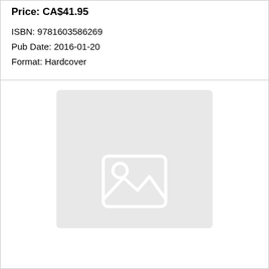Price: CA$41.95
ISBN: 9781603586269
Pub Date: 2016-01-20
Format: Hardcover
[Figure (photo): Placeholder image area with a light gray background and a white image icon (mountain/landscape placeholder) in the lower center.]